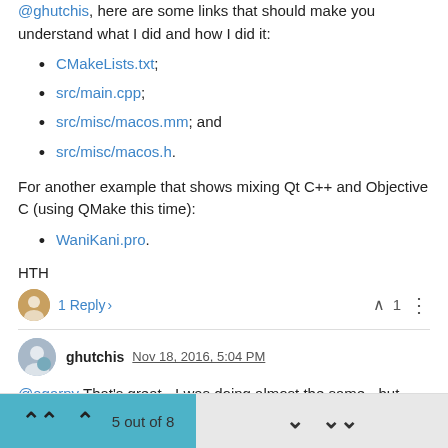@ghutchis, here are some links that should make you understand what I did and how I did it:
CMakeLists.txt;
src/main.cpp;
src/misc/macos.mm; and
src/misc/macos.h.
For another example that shows mixing Qt C++ and Objective C (using QMake this time):
WaniKani.pro.
HTH
1 Reply > ∧ 1 ⋮
ghutchis Nov 18, 2016, 5:04 PM
@agarny That's great - I was doing almost the same - but after looking at your examples, I realized the code wasn't calling the method in mac.mm.
5 out of 8